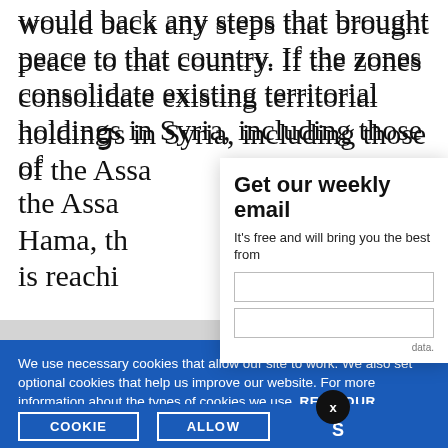would back any steps that brought peace to that country. If the zones consolidate existing territorial holdings in Syria, including those of the Assad... Hama, th... is reachin...
Get our weekly email
It's free and will bring you the best from
We use necessary cookies that allow our site to work. We also set optional cookies that help us improve our website. For more information about the types of cookies we use. READ OUR COOKIES POLICY HERE
COOKIE
ALLOW
S
data.
War in Ukraine, six months on
10 hours ago